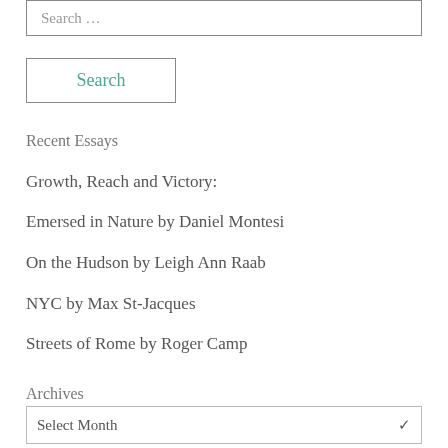Search …
Search
Recent Essays
Growth, Reach and Victory:
Emersed in Nature by Daniel Montesi
On the Hudson by Leigh Ann Raab
NYC by Max St-Jacques
Streets of Rome by Roger Camp
Archives
Select Month